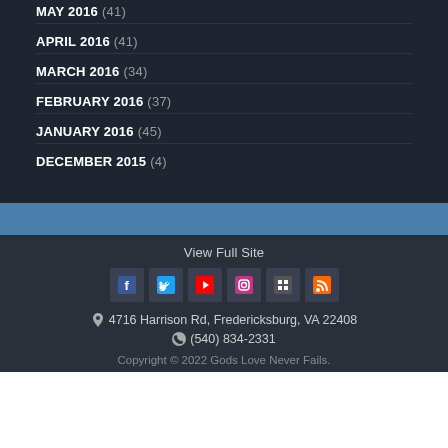MAY 2016 (41)
APRIL 2016 (41)
MARCH 2016 (34)
FEBRUARY 2016 (37)
JANUARY 2016 (45)
DECEMBER 2015 (4)
View Full Site
[Figure (infographic): Social media icons row: Facebook, Twitter, YouTube, Instagram, unknown grid icon, RSS feed]
4716 Harrison Rd, Fredericksburg, VA 22408
(540) 834-2331
Copyright © 2022 Gods Love Never Fails.